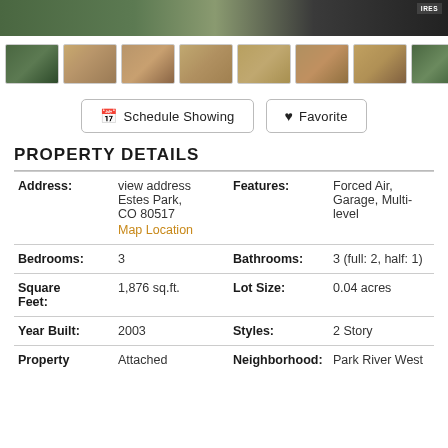[Figure (photo): Top banner image of property exterior and trees]
[Figure (photo): Row of 8 property photo thumbnails]
Schedule Showing   Favorite
PROPERTY DETAILS
| Address: | view address
Estes Park,
CO 80517
Map Location | Features: | Forced Air, Garage, Multi-level |
| Bedrooms: | 3 | Bathrooms: | 3 (full: 2, half: 1) |
| Square Feet: | 1,876 sq.ft. | Lot Size: | 0.04 acres |
| Year Built: | 2003 | Styles: | 2 Story |
| Property | Attached | Neighborhood: | Park River West |